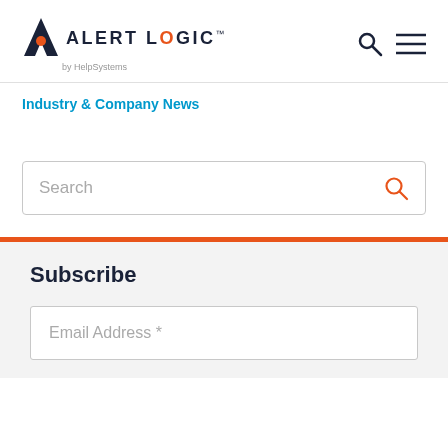Alert Logic by HelpSystems
Industry & Company News
Search
Subscribe
Email Address *